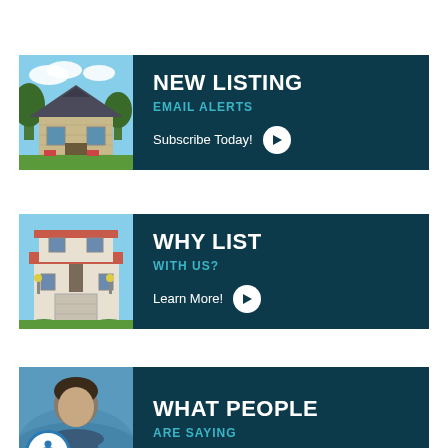[Figure (infographic): NEW LISTING EMAIL ALERTS banner with house photo on left and dark teal background on right. Text: NEW LISTING, EMAIL ALERTS, Subscribe Today! with play button.]
[Figure (infographic): WHY LIST WITH US? banner with stucco house photo on left and dark teal background on right. Text: WHY LIST, WITH US?, Learn More! with play button.]
[Figure (infographic): WHAT PEOPLE ARE SAYING banner with person photo on left and dark teal background on right. Text: WHAT PEOPLE, ARE SAYING. Accessibility icon in bottom left.]